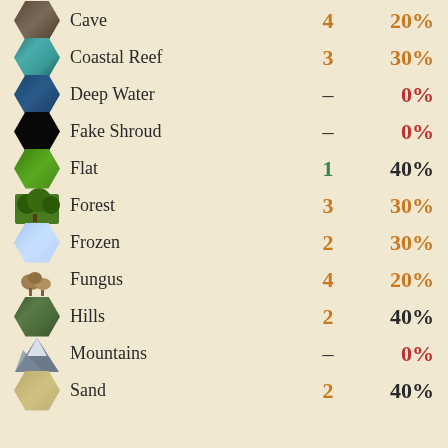| Icon | Terrain | Num | Pct |
| --- | --- | --- | --- |
| Cave | Cave | 4 | 20% |
| Coastal Reef | Coastal Reef | 3 | 30% |
| Deep Water | Deep Water | – | 0% |
| Fake Shroud | Fake Shroud | – | 0% |
| Flat | Flat | 1 | 40% |
| Forest | Forest | 3 | 30% |
| Frozen | Frozen | 2 | 30% |
| Fungus | Fungus | 4 | 20% |
| Hills | Hills | 2 | 40% |
| Mountains | Mountains | – | 0% |
| Sand | Sand | 2 | 40% |